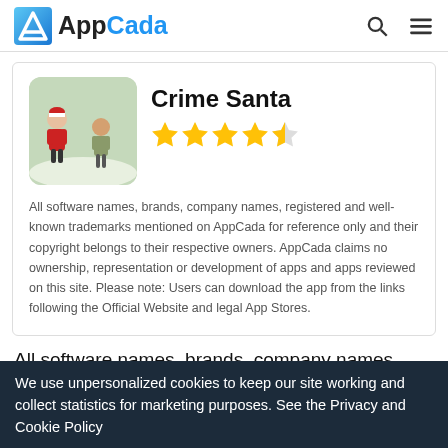AppCada
[Figure (screenshot): Crime Santa app icon showing Santa Claus characters in a snowy scene]
Crime Santa
[Figure (other): 4.5 star rating shown with gold stars]
All software names, brands, company names, registered and well-known trademarks mentioned on AppCada for reference only and their copyright belongs to their respective owners. AppCada claims no ownership, representation or development of apps and apps reviewed on this site. Please note: Users can download the app from the links following the Official Website and legal App Stores.
All software names, brands, company names, registered and well-known trademarks mentioned on AppCada for reference only and their copyright belongs to their respective owners.
We use unpersonalized cookies to keep our site working and collect statistics for marketing purposes. See the Privacy and Cookie Policy